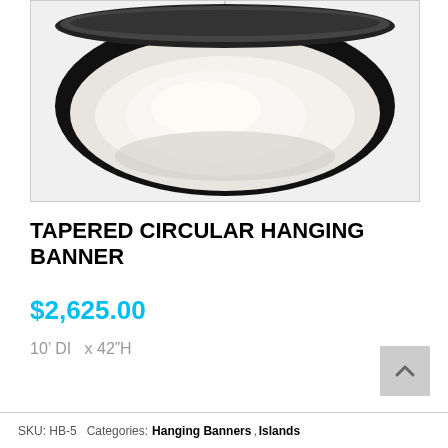[Figure (photo): Top-down view of a tapered circular hanging banner, black outer rim with white interior bowl shape, suspended from a thin wire from the ceiling.]
TAPERED CIRCULAR HANGING BANNER
$2,625.00
10’ DI  x 42”H
SKU: HB-5  Categories: Hanging Banners, Islands